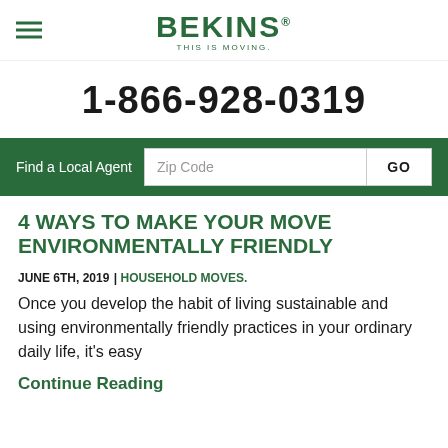BEKINS — THIS IS MOVING.
1-866-928-0319
Find a Local Agent  Zip Code  GO
4 WAYS TO MAKE YOUR MOVE ENVIRONMENTALLY FRIENDLY
JUNE 6TH, 2019 | HOUSEHOLD MOVES.
Once you develop the habit of living sustainable and using environmentally friendly practices in your ordinary daily life, it's easy
Continue Reading